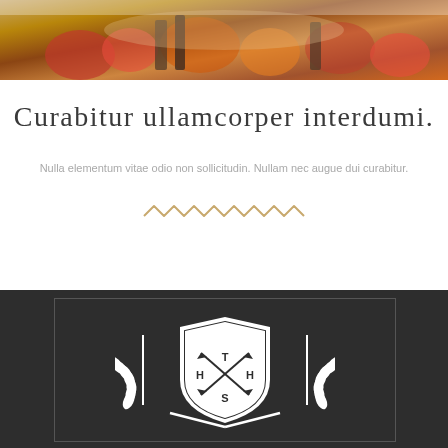[Figure (photo): Top portion of a painting/photo showing food items, fruits, and table setting in warm tones]
Curabitur ullamcorper interdumi.
Nulla elementum vitae odio non sollicitudin. Nullam nec augue dui curabitur.
[Figure (illustration): Decorative zigzag/chevron divider in tan/copper color]
[Figure (logo): White crest/shield logo with laurel wreath, crossed arrows, and letters T, H, H, S on dark background]